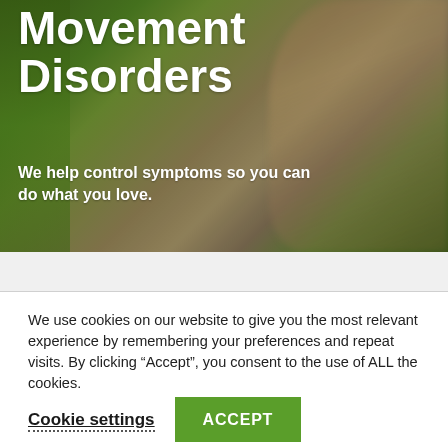[Figure (photo): Background hero image showing a blurry garden path with green foliage on the sides and a dirt trail in the center-right area]
Movement Disorders
We help control symptoms so you can do what you love.
We use cookies on our website to give you the most relevant experience by remembering your preferences and repeat visits. By clicking “Accept”, you consent to the use of ALL the cookies.
Cookie settings
ACCEPT